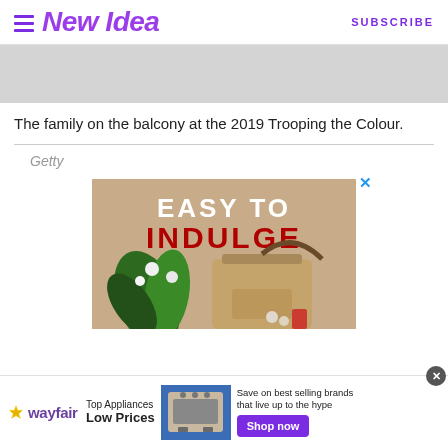New Idea | SUBSCRIBE
[Figure (photo): Gray placeholder image representing a photo of a family on a balcony at the 2019 Trooping the Colour.]
The family on the balcony at the 2019 Trooping the Colour.
Getty
[Figure (photo): Advertisement showing 'EASY TO INDULGE' with a handbag and plant arrangement on a tan background.]
[Figure (photo): Wayfair advertisement: Top Appliances Low Prices. Save on best selling brands that live up to the hype. Shop now.]